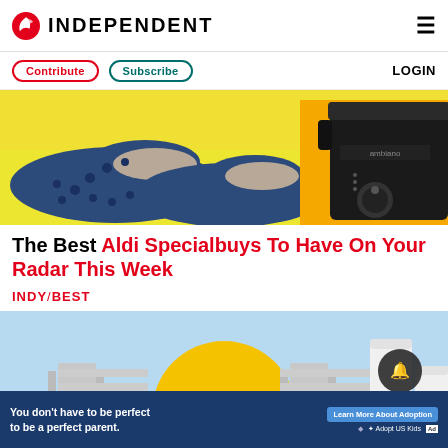INDEPENDENT
Contribute | Subscribe | LOGIN
[Figure (photo): Hero image showing navy blue Crocs-style clogs with fur lining on left, and a black Ambiano slow cooker on right, both on a yellow background]
The Best Aldi Specialbuys To Have On Your Radar This Week
INDY/BEST
[Figure (photo): Second image showing a blue sky background with yellow sun illustration and white cylindrical containers/bottles]
[Figure (photo): Advertisement banner: You don't have to be perfect to be a perfect parent. Learn More About Adoption. Adopt US Kids logo.]